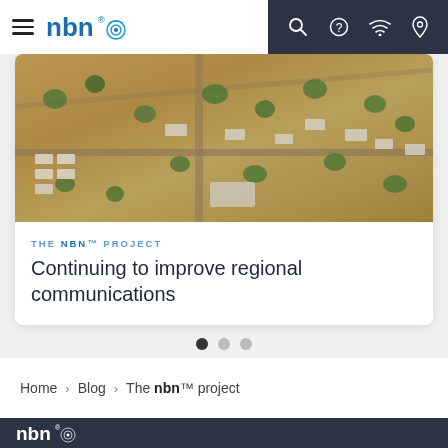nbn — navigation bar with hamburger menu, nbn logo, search, help, wifi, location icons
[Figure (photo): Aerial drone photograph of a remote Australian outback town showing scattered buildings, caravans, red earth roads, and sparse green trees viewed from above]
THE NBN™ PROJECT
Continuing to improve regional communications
Home > Blog > The nbn™ project
nbn footer dark background with logo